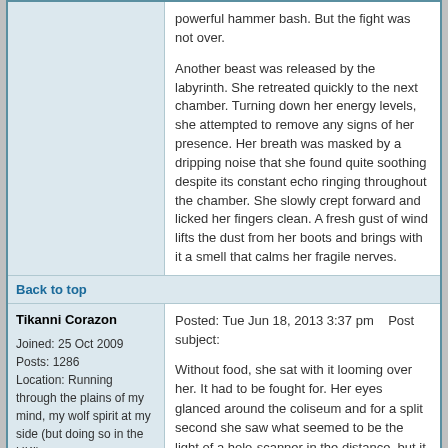powerful hammer bash. But the fight was not over.

Another beast was released by the labyrinth. She retreated quickly to the next chamber. Turning down her energy levels, she attempted to remove any signs of her presence. Her breath was masked by a dripping noise that she found quite soothing despite its constant echo ringing throughout the chamber. She slowly crept forward and licked her fingers clean. A fresh gust of wind lifts the dust from her boots and brings with it a smell that calms her fragile nerves.
Back to top
Tikanni Corazon
Joined: 25 Oct 2009
Posts: 1286
Location: Running through the plains of my mind, my wolf spirit at my side (but doing so in the UK!).
Posted: Tue Jun 18, 2013 3:37 pm    Post subject:
Without food, she sat with it looming over her. It had to be fought for. Her eyes glanced around the coliseum and for a split second she saw what seemed to be the light of a holo-scanner in the distance, but it then began. The lion that was waiting pounced from its pedestal, claws extended, sharp and